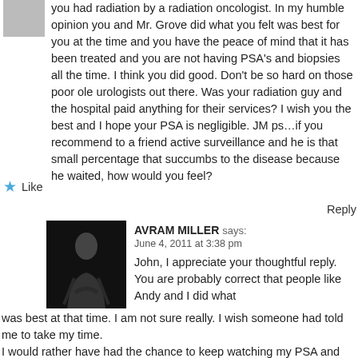you had radiation by a radiation oncologist. In my humble opinion you and Mr. Grove did what you felt was best for you at the time and you have the peace of mind that it has been treated and you are not having PSA's and biopsies all the time. I think you did good. Don't be so hard on those poor ole urologists out there. Was your radiation guy and the hospital paid anything for their services? I wish you the best and I hope your PSA is negligible. JM ps…if you recommend to a friend active surveillance and he is that small percentage that succumbs to the disease because he waited, how would you feel?
Like
Reply
AVRAM MILLER says:
June 4, 2011 at 3:38 pm
John, I appreciate your thoughtful reply. You are probably correct that people like Andy and I did what was best at that time. I am not sure really. I wish someone had told me to take my time.
I would rather have had the chance to keep watching my PSA and have a biopsy periodically then have my prostate radiated.
Someone else might make a different choice. What I want is that men are given a real choice and presented with the facts. Hopefully you support that?
My experience is colored by my having something that is called PSA